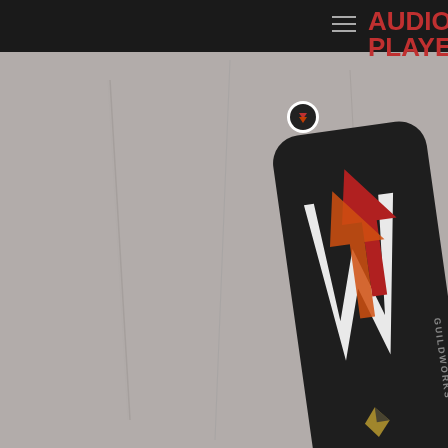[Figure (logo): Guildworks logo badge on dark rounded-rectangle background with stylized white letters and red/orange arrow graphic. Small circular icon top-left. Text 'GUILDWORKS' along right edge.]
Privacy policy
Khaled Ahmed is 26-year-old, U.S.-born Libyan-American better known as the rapper Khaled M. His father, Mohamed Ahmed (a poet and revolutionary) and mother, Wafa Nashnoush, spent most of their lives